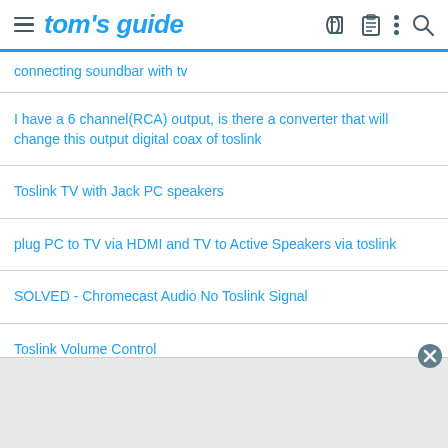tom's guide
connecting soundbar with tv
I have a 6 channel(RCA) output, is there a converter that will change this output digital coax of toslink
Toslink TV with Jack PC speakers
plug PC to TV via HDMI and TV to Active Speakers via toslink
SOLVED - Chromecast Audio No Toslink Signal
Toslink Volume Control